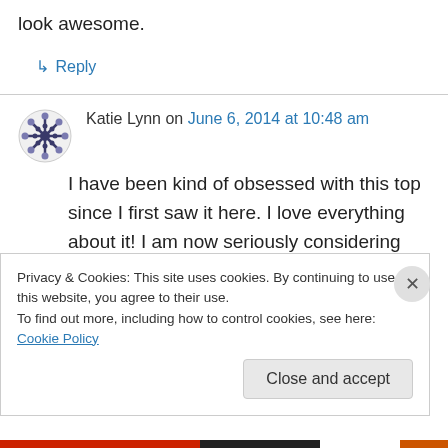look awesome.
↳ Reply
Katie Lynn on June 6, 2014 at 10:48 am
I have been kind of obsessed with this top since I first saw it here. I love everything about it! I am now seriously considering making my own swimsuit. This year I wanted high waisted bottoms, but all of them are a bit too low. I want juuuuust under my belly button. Can't find the
Privacy & Cookies: This site uses cookies. By continuing to use this website, you agree to their use.
To find out more, including how to control cookies, see here: Cookie Policy